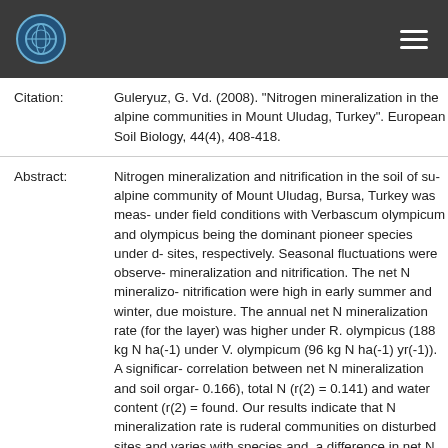Header bar with logo and navigation menu
Citation: Guleryuz, G. Vd. (2008). "Nitrogen mineralization in the alpine communities in Mount Uludag, Turkey". European Soil Biology, 44(4), 408-418.
Abstract: Nitrogen mineralization and nitrification in the soil of sub-alpine community of Mount Uludag, Bursa, Turkey was measured under field conditions with Verbascum olympicum and olympicus being the dominant pioneer species under disturbed sites, respectively. Seasonal fluctuations were observed in mineralization and nitrification. The net N mineralization and nitrification were high in early summer and winter, due to moisture. The annual net N mineralization rate (for the layer) was higher under R. olympicus (188 kg N ha(-1)) than under V. olympicum (96 kg N ha(-1) yr(-1)). A significant correlation between net N mineralization and soil organic C (r(2) = 0.166), total N (r(2) = 0.141) and water content (r(2) = 0) was found. Our results indicate that N mineralization rate is high in ruderal communities on disturbed sites and varies with dominant species and, a difference in net N mineralization rate correlated to organic C, total N and moisture content of soils.